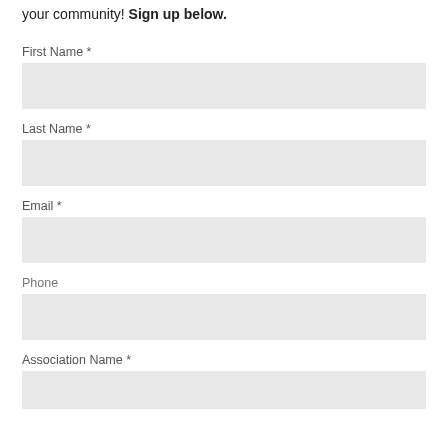your community! Sign up below.
First Name *
Last Name *
Email *
Phone
Association Name *